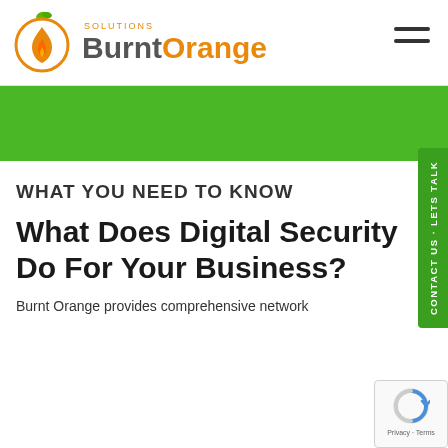[Figure (logo): Burnt Orange Solutions logo with orange circle containing a flame, and brand name in grey/orange text, plus hamburger menu icon in top right]
[Figure (other): Green horizontal banner below the header navigation]
[Figure (other): Vertical green CONTACT US - LETS TALK tab on right side]
WHAT YOU NEED TO KNOW
What Does Digital Security Do For Your Business?
Burnt Orange provides comprehensive network
[Figure (other): Google reCAPTCHA badge with blue circular icon and Privacy - Terms text]